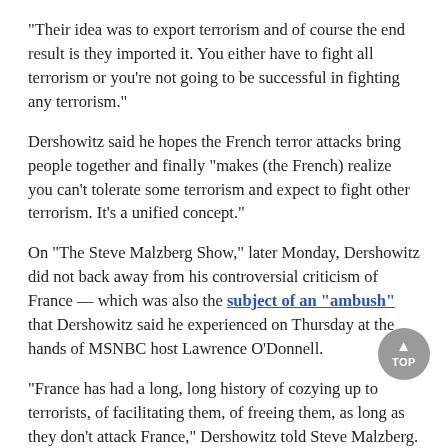"Their idea was to export terrorism and of course the end result is they imported it. You either have to fight all terrorism or you're not going to be successful in fighting any terrorism."
Dershowitz said he hopes the French terror attacks bring people together and finally "makes (the French) realize you can't tolerate some terrorism and expect to fight other terrorism. It's a unified concept."
On "The Steve Malzberg Show," later Monday, Dershowitz did not back away from his controversial criticism of France — which was also the subject of an "ambush" that Dershowitz said he experienced on Thursday at the hands of MSNBC host Lawrence O'Donnell.
"France has had a long, long history of cozying up to terrorists, of facilitating them, of freeing them, as long as they don't attack France," Dershowitz told Steve Malzberg. "It is the most selfish and hypocritical foreign policy among many hypocritical and selfish European foreign policies.
"The idea was that they would do anything to prevent the importation of terrorism — they wanted to export terrorism. It's okay if terrorists hit other countries," said Dershowitz.